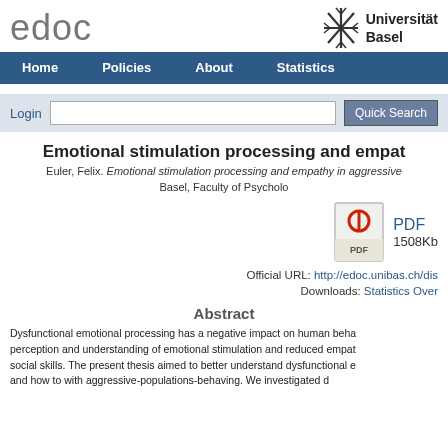edoc | Universität Basel
Emotional stimulation processing and empat...
Euler, Felix. Emotional stimulation processing and empathy in aggressive... Basel, Faculty of Psycholo...
[Figure (other): PDF file icon]
PDF
1508Kb
Official URL: http://edoc.unibas.ch/dis...
Downloads: Statistics Ove...
Abstract
Dysfunctional emotional processing has a negative impact on human beha... perception and understanding of emotional stimulation and reduced empat... social skills. The present thesis aimed to better understand dysfunctional e... and how to with aggressive-populations-behaving. We investigated d...